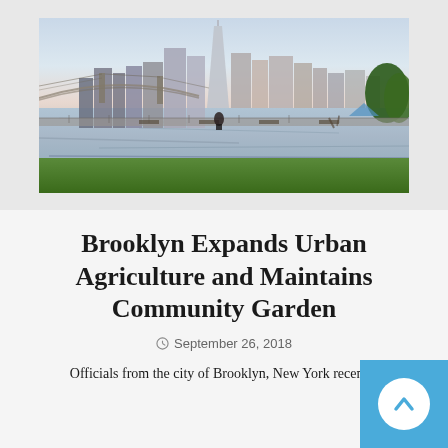[Figure (photo): Aerial/ground-level photo of Brooklyn/Manhattan skyline viewed from a waterfront park, with the Brooklyn Bridge visible, calm water reflecting the skyline, a person sitting on a bench in the foreground on green grass, at dusk or dawn with a pastel sky.]
Brooklyn Expands Urban Agriculture and Maintains Community Garden
September 26, 2018
Officials from the city of Brooklyn, New York recently